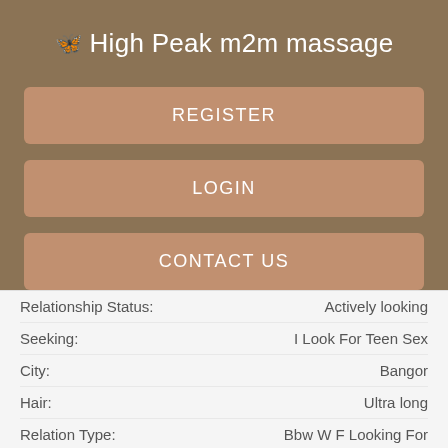🦋 High Peak m2m massage
REGISTER
LOGIN
CONTACT US
| Field | Value |
| --- | --- |
| Relationship Status: | Actively looking |
| Seeking: | I Look For Teen Sex |
| City: | Bangor |
| Hair: | Ultra long |
| Relation Type: | Bbw W F Looking For |